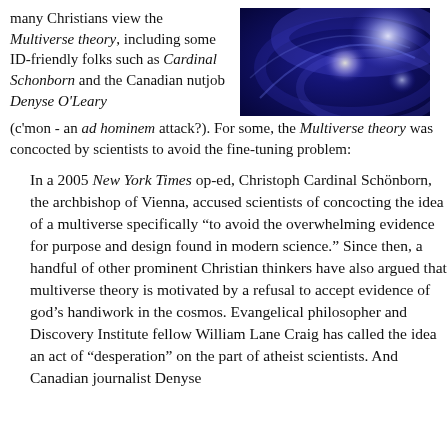many Christians view the Multiverse theory, including some ID-friendly folks such as Cardinal Schonborn and the Canadian nutjob Denyse O'Leary (c'mon - an ad hominem attack?). For some, the Multiverse theory was concocted by scientists to avoid the fine-tuning problem:
[Figure (photo): Abstract blue-toned image, possibly representing cosmic or celestial imagery with soft light orbs on a dark blue background.]
In a 2005 New York Times op-ed, Christoph Cardinal Schönborn, the archbishop of Vienna, accused scientists of concocting the idea of a multiverse specifically “to avoid the overwhelming evidence for purpose and design found in modern science.” Since then, a handful of other prominent Christian thinkers have also argued that multiverse theory is motivated by a refusal to accept evidence of god’s handiwork in the cosmos. Evangelical philosopher and Discovery Institute fellow William Lane Craig has called the idea an act of “desperation” on the part of atheist scientists. And Canadian journalist Denyse